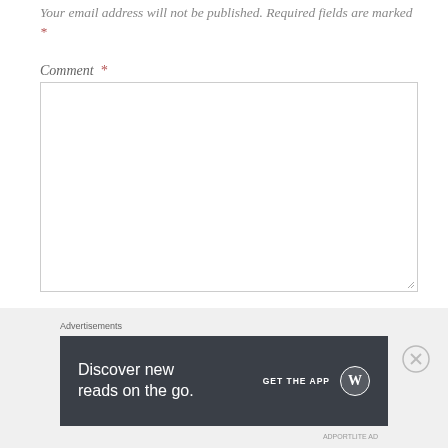Your email address will not be published. Required fields are marked *
Comment *
[Figure (screenshot): Empty comment text area input box]
Name *
[Figure (screenshot): Empty name text input box]
Advertisements
[Figure (screenshot): WordPress app advertisement banner: 'Discover new reads on the go.' with GET THE APP button and WordPress logo on dark background]